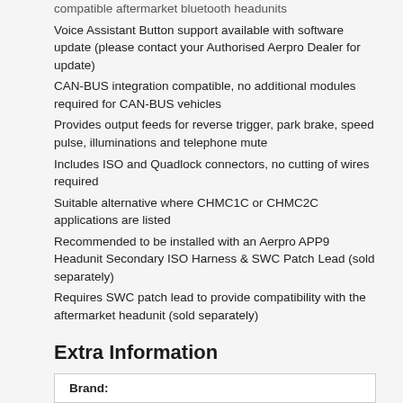compatible aftermarket bluetooth headunits Voice Assistant Button support available with software update (please contact your Authorised Aerpro Dealer for update)
CAN-BUS integration compatible, no additional modules required for CAN-BUS vehicles
Provides output feeds for reverse trigger, park brake, speed pulse, illuminations and telephone mute
Includes ISO and Quadlock connectors, no cutting of wires required
Suitable alternative where CHMC1C or CHMC2C applications are listed
Recommended to be installed with an Aerpro APP9 Headunit Secondary ISO Harness & SWC Patch Lead (sold separately)
Requires SWC patch lead to provide compatibility with the aftermarket headunit (sold separately)
Extra Information
| Brand: |
| --- |